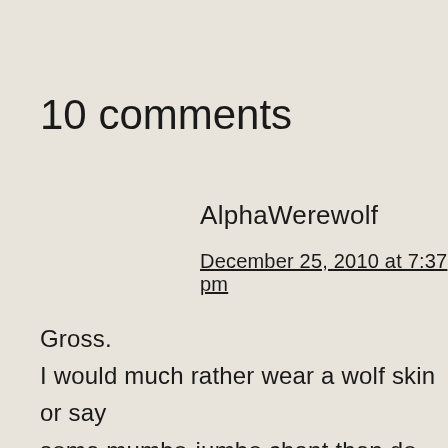10 comments
AlphaWerewolf
December 25, 2010 at 7:37 pm
Gross.
I would much rather wear a wolf skin or say some mumbo-jumbo chant then do this.
skinning a person . . . Gross.
If that had taken place in mainland Europe in